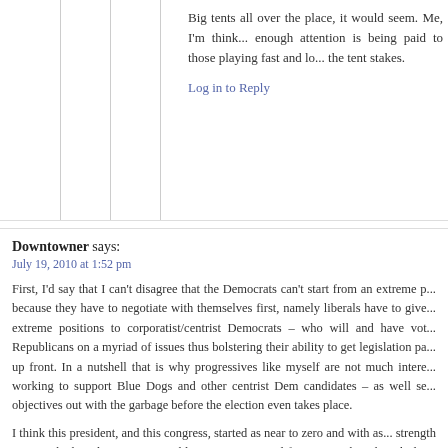Big tents all over the place, it would seem. Me, I'm think... enough attention is being paid to those playing fast and lo... the tent stakes.
Log in to Reply
Downtowner says: July 19, 2010 at 1:52 pm
First, I'd say that I can't disagree that the Democrats can't start from an extreme p... because they have to negotiate with themselves first, namely liberals have to give... extreme positions to corporatist/centrist Democrats – who will and have vot... Republicans on a myriad of issues thus bolstering their ability to get legislation pa... up front. In a nutshell that is why progressives like myself are not much intere... working to support Blue Dogs and other centrist Dem candidates – as well se... objectives out with the garbage before the election even takes place.
I think this president, and this congress, started as near to zero and with as... strength to reset the board as it is reasonable to expect in my lifetime. Yet there ha... little to no indication of an interest – let alone willingness – to strongly push for a... agenda. And yes, like most progressives I quite clearly get that Democrats (a... decidedly NOT Republicans) need 60+ votes to pass anything through the Senate...